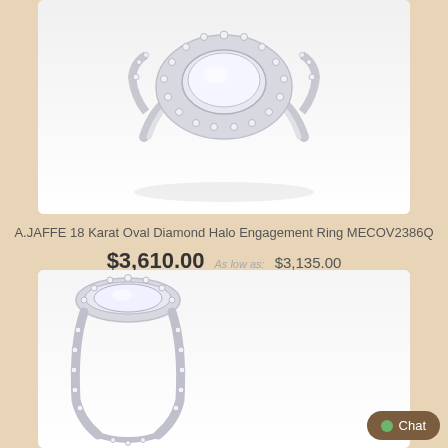[Figure (photo): Top view of an 18 karat oval diamond halo engagement ring with pave setting on a white background]
A.JAFFE 18 Karat Oval Diamond Halo Engagement Ring MECOV2386Q
$3,610.00  As low as:  $3,135.00
[Figure (photo): Side view of a diamond halo engagement ring showing the band detail and pave diamonds on a white background]
Chat